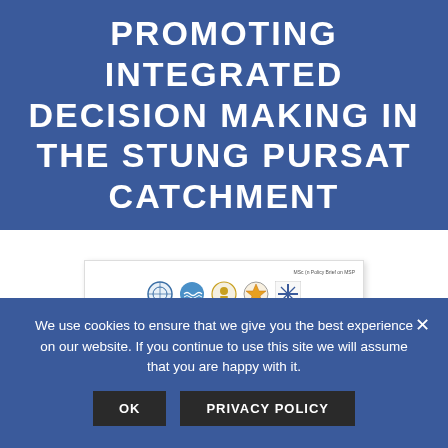PROMOTING INTEGRATED DECISION MAKING IN THE STUNG PURSAT CATCHMENT
[Figure (other): Thumbnail preview of a document page showing organizational logos and caption text reading 'Multi-stakeholder Platform – an innovative mechanism for promoting integrated decision making in the Stung Pursat catchment']
We use cookies to ensure that we give you the best experience on our website. If you continue to use this site we will assume that you are happy with it.
OK   PRIVACY POLICY